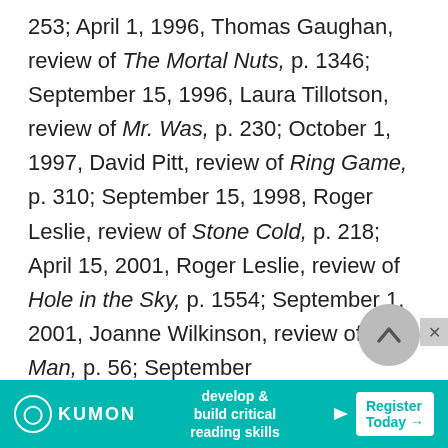253; April 1, 1996, Thomas Gaughan, review of The Mortal Nuts, p. 1346; September 15, 1996, Laura Tillotson, review of Mr. Was, p. 230; October 1, 1997, David Pitt, review of Ring Game, p. 310; September 15, 1998, Roger Leslie, review of Stone Cold, p. 218; April 15, 2001, Roger Leslie, review of Hole in the Sky, p. 1554; September 1, 2001, Joanne Wilkinson, review of Rag Man, p. 56; September 1, 2...